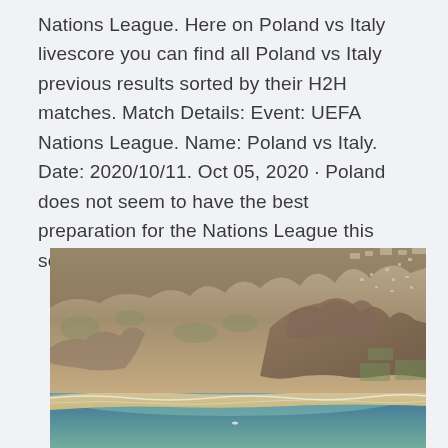Nations League. Here on Poland vs Italy livescore you can find all Poland vs Italy previous results sorted by their H2H matches. Match Details: Event: UEFA Nations League. Name: Poland vs Italy. Date: 2020/10/11. Oct 05, 2020 · Poland does not seem to have the best preparation for the Nations League this season.
[Figure (photo): Aerial photograph of a coastal city with mountains/cliffs, sandy beach, ocean water visible in foreground, and urban development on hillsides and plateau above.]